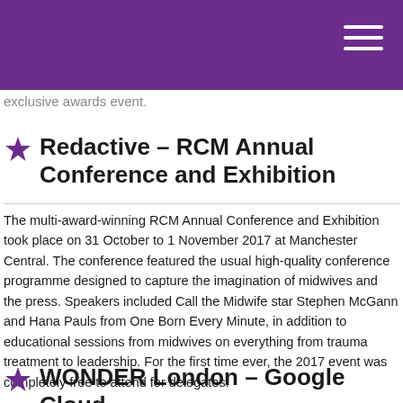exclusive awards event.
Redactive – RCM Annual Conference and Exhibition
The multi-award-winning RCM Annual Conference and Exhibition took place on 31 October to 1 November 2017 at Manchester Central. The conference featured the usual high-quality conference programme designed to capture the imagination of midwives and the press. Speakers included Call the Midwife star Stephen McGann and Hana Pauls from One Born Every Minute, in addition to educational sessions from midwives on everything from trauma treatment to leadership. For the first time ever, the 2017 event was completely free to attend for delegates.
WONDER London – Google Cloud